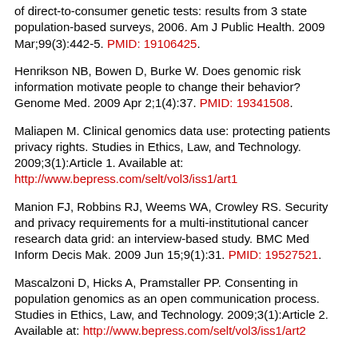of direct-to-consumer genetic tests: results from 3 state population-based surveys, 2006. Am J Public Health. 2009 Mar;99(3):442-5. PMID: 19106425.
Henrikson NB, Bowen D, Burke W. Does genomic risk information motivate people to change their behavior? Genome Med. 2009 Apr 2;1(4):37. PMID: 19341508.
Maliapen M. Clinical genomics data use: protecting patients privacy rights. Studies in Ethics, Law, and Technology. 2009;3(1):Article 1. Available at: http://www.bepress.com/selt/vol3/iss1/art1
Manion FJ, Robbins RJ, Weems WA, Crowley RS. Security and privacy requirements for a multi-institutional cancer research data grid: an interview-based study. BMC Med Inform Decis Mak. 2009 Jun 15;9(1):31. PMID: 19527521.
Mascalzoni D, Hicks A, Pramstaller PP. Consenting in population genomics as an open communication process. Studies in Ethics, Law, and Technology. 2009;3(1):Article 2. Available at: http://www.bepress.com/selt/vol3/iss1/art2